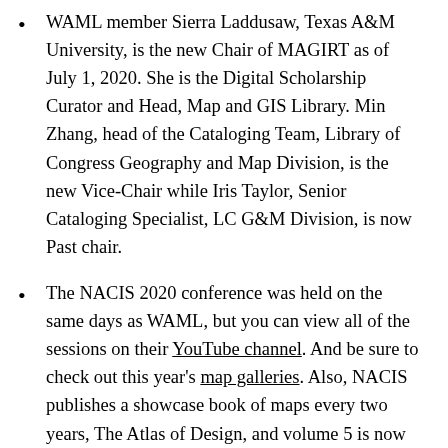WAML member Sierra Laddusaw, Texas A&M University, is the new Chair of MAGIRT as of July 1, 2020. She is the Digital Scholarship Curator and Head, Map and GIS Library. Min Zhang, head of the Cataloging Team, Library of Congress Geography and Map Division, is the new Vice-Chair while Iris Taylor, Senior Cataloging Specialist, LC G&M Division, is now Past chair.
The NACIS 2020 conference was held on the same days as WAML, but you can view all of the sessions on their YouTube channel. And be sure to check out this year's map galleries. Also, NACIS publishes a showcase book of maps every two years, The Atlas of Design, and volume 5 is now being made (sheets are printed, and it's off to the bindery). We hope to begin shipping by the middle of November. The atlas includes 31 contributions, in full color, 9 x 12". Each contributor has an essay discussing their work. There's an introductory essay by five long-time NACIS members talking about how technology